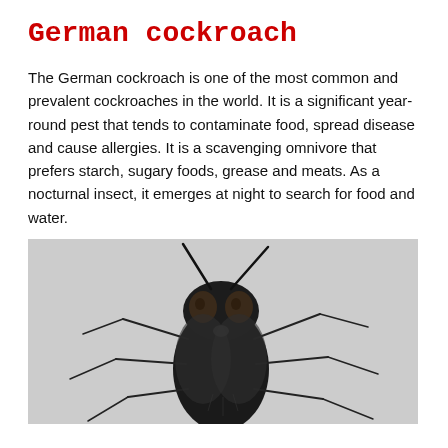German cockroach
The German cockroach is one of the most common and prevalent cockroaches in the world. It is a significant year-round pest that tends to contaminate food, spread disease and cause allergies. It is a scavenging omnivore that prefers starch, sugary foods, grease and meats. As a nocturnal insect, it emerges at night to search for food and water.
[Figure (photo): Close-up macro photograph of an insect (fly or cockroach) viewed from above, showing large compound eyes, antennae, and legs, on a light gray/white background. Black and white or desaturated image.]